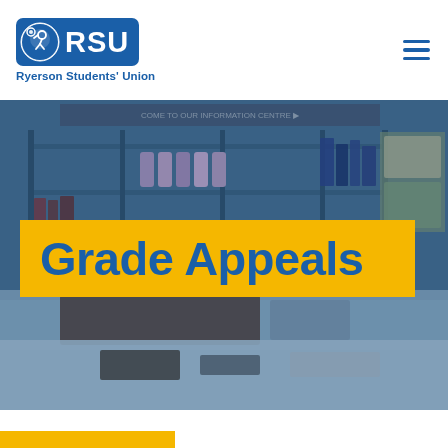[Figure (logo): RSU Ryerson Students' Union logo — blue rounded rectangle badge with RSU text and diver icon, with 'Ryerson Students' Union' subtitle below]
[Figure (photo): Interior photo of an RSU student services office/store with shelving units, water bottles, books, and a service counter, overlaid with blue tint]
Grade Appeals
[Figure (other): Yellow horizontal bar at bottom left of page]